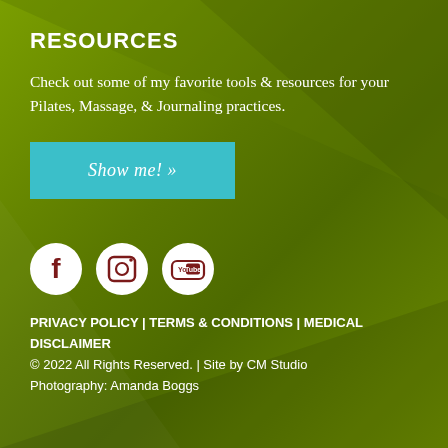RESOURCES
Check out some of my favorite tools & resources for your Pilates, Massage, & Journaling practices.
Show me! »
[Figure (illustration): Social media icons: Facebook, Instagram, YouTube — white circles with dark red icons]
PRIVACY POLICY | TERMS & CONDITIONS | MEDICAL DISCLAIMER
© 2022 All Rights Reserved. | Site by CM Studio
Photography: Amanda Boggs